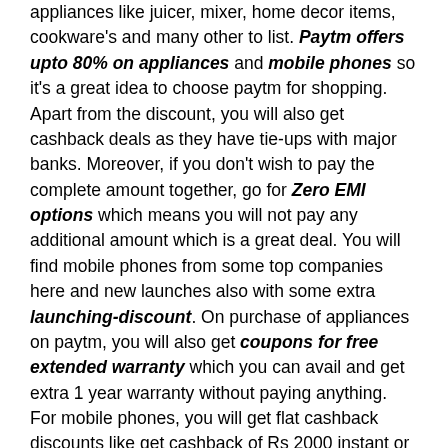appliances like juicer, mixer, home decor items, cookware's and many other to list. Paytm offers upto 80% on appliances and mobile phones so it's a great idea to choose paytm for shopping. Apart from the discount, you will also get cashback deals as they have tie-ups with major banks. Moreover, if you don't wish to pay the complete amount together, go for Zero EMI options which means you will not pay any additional amount which is a great deal. You will find mobile phones from some top companies here and new launches also with some extra launching-discount. On purchase of appliances on paytm, you will also get coupons for free extended warranty which you can avail and get extra 1 year warranty without paying anything. For mobile phones, you will get flat cashback discounts like get cashback of Rs 2000 instant or more or you can get upto 40% cashback deals on mobile phones. When you visit the website/app you can explore more discounts on some of the best picks where you will not have to compromise on quality at all.
Paytm Loans: Are you looking to expand your business or buy bulk inventory or enter into a new category but you are facing challenges in terms of money. These challenges can